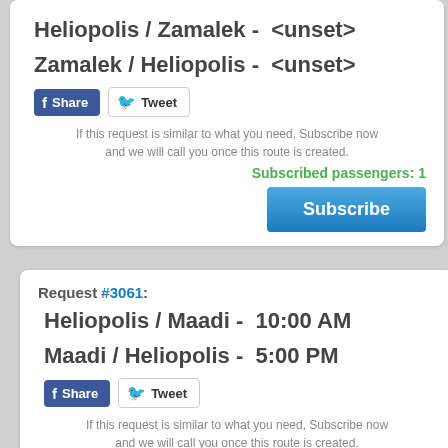Heliopolis / Zamalek -  <unset>
Zamalek / Heliopolis -  <unset>
[Figure (screenshot): Facebook Share button and Twitter Tweet button]
If this request is similar to what you need, Subscribe now and we will call you once this route is created.
Subscribed passengers: 1
[Figure (screenshot): Subscribe button]
Request #3061:
Heliopolis / Maadi -  10:00 AM
Maadi / Heliopolis -  5:00 PM
[Figure (screenshot): Facebook Share button and Twitter Tweet button]
If this request is similar to what you need, Subscribe now and we will call you once this route is created.